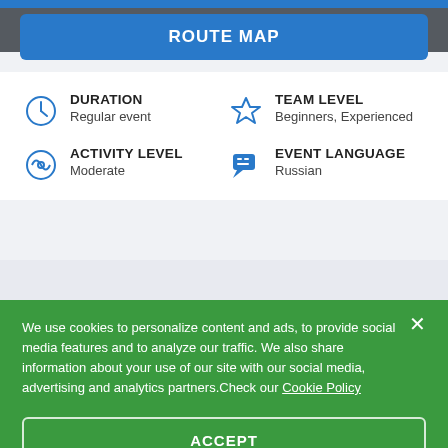[Figure (screenshot): Top decorative image area with dark background and blue strip at top]
ROUTE MAP
DURATION
Regular event
TEAM LEVEL
Beginners, Experienced
ACTIVITY LEVEL
Moderate
EVENT LANGUAGE
Russian
We use cookies to personalize content and ads, to provide social media features and to analyze our traffic. We also share information about your use of our site with our social media, advertising and analytics partners.Check our Cookie Policy
ACCEPT